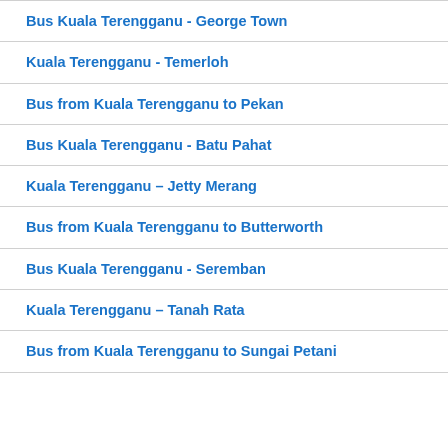Bus Kuala Terengganu - George Town
Kuala Terengganu - Temerloh
Bus from Kuala Terengganu to Pekan
Bus Kuala Terengganu - Batu Pahat
Kuala Terengganu - Jetty Merang
Bus from Kuala Terengganu to Butterworth
Bus Kuala Terengganu - Seremban
Kuala Terengganu - Tanah Rata
Bus from Kuala Terengganu to Sungai Petani